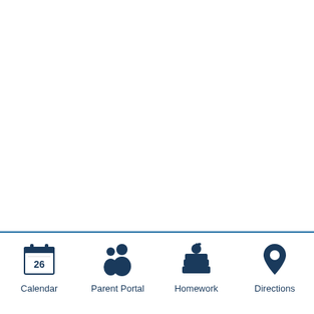[Figure (infographic): Navigation footer bar with four icons: Calendar (showing 26), Parent Portal (two figures), Homework (books with apple), Directions (map pin). Dark navy blue color. Separated from main content by a horizontal blue line.]
Calendar
Parent Portal
Homework
Directions